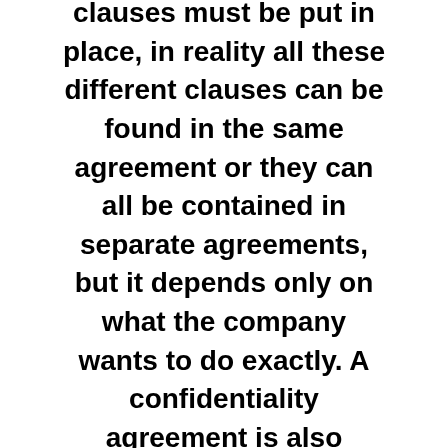clauses must be put in place, in reality all these different clauses can be found in the same agreement or they can all be contained in separate agreements, but it depends only on what the company wants to do exactly. A confidentiality agreement is also called a confidentiality agreement and prevents the self-employed worker or contractor from disclosing the sensitive